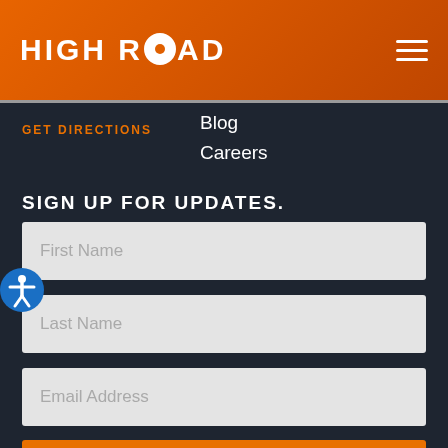HIGH ROAD
GET DIRECTIONS
Blog
Careers
SIGN UP FOR UPDATES.
First Name
Last Name
Email Address
SUBSCRIBE